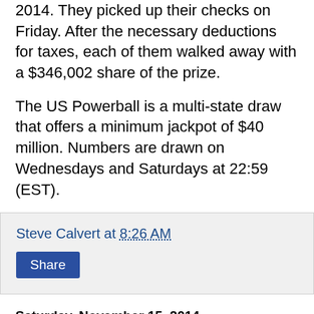2014. They picked up their checks on Friday. After the necessary deductions for taxes, each of them walked away with a $346,002 share of the prize.
The US Powerball is a multi-state draw that offers a minimum jackpot of $40 million. Numbers are drawn on Wednesdays and Saturdays at 22:59 (EST).
Steve Calvert at 8:26 AM
Share
Saturday, November 15, 2014
UK Lotto Results for Saturday, November 15, 2014
Saturday's UK National Lottery Lotto drawing offered a jackpot of £3.8 million. That's a tempting prize, but there were no winning tickets so a weekend rollover has pumped up the pot to offer players an even more enticing prize on Wednesday night.